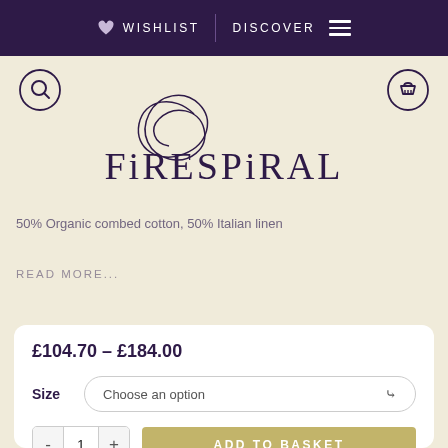WISHLIST | DISCOVER
[Figure (logo): Firespiral brand logo with decorative swirl and stylized text]
50% Organic combed cotton, 50% Italian linen
READ MORE...
£104.70 – £184.00
Size  Choose an option
- 1 +  ADD TO BASKET